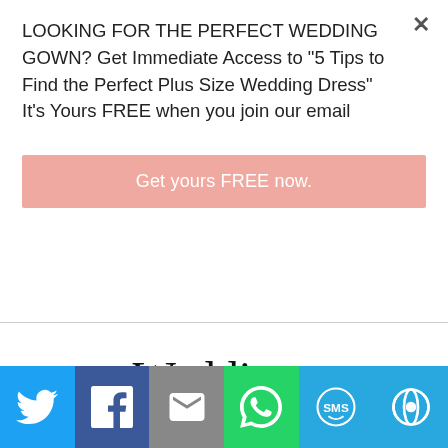LOOKING FOR THE PERFECT WEDDING GOWN? Get Immediate Access to "5 Tips to Find the Perfect Plus Size Wedding Dress" It's Yours FREE when you join our email
Get yours FREE now.
Weddings
Submit Yours Here
[Figure (other): Social share bar with Twitter, Facebook, Email, WhatsApp, SMS, and More buttons]